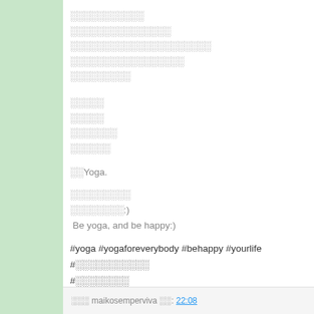░░░░░░░░░░░
░░░░░░░░░░░░░░░
░░░░░░░░░░░░░░░░░░░░░
░░░░░░░░░░░░░░░░░
░░░░░░░░░
░░░░░
░░░░░
░░░░░░░
░░░░░░
░░Yoga.
░░░░░░░░░
░░░░░░░░:)
 Be yoga, and be happy:)
#yoga #yogaforeverybody #behappy #yourlife
#░░░░░░░░░░░
#░░░░░░░░
░░░ maikosemperviva ░░: 22:08